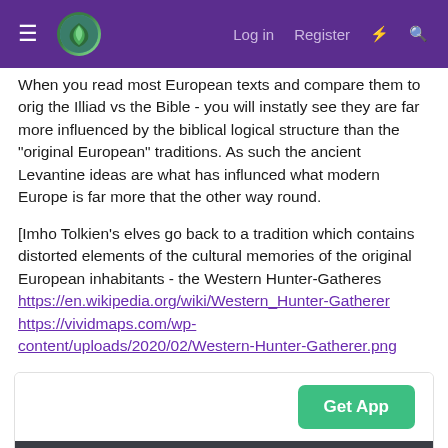Log in  Register
When you read most European texts and compare them to orig the Illiad vs the Bible - you will instatly see they are far more influenced by the biblical logical structure than the "original European" traditions. As such the ancient Levantine ideas are what has influnced what modern Europe is far more that the other way round.
[Imho Tolkien's elves go back to a tradition which contains distorted elements of the cultural memories of the original European inhabitants - the Western Hunter-Gatheres https://en.wikipedia.org/wiki/Western_Hunter-Gatherer https://vividmaps.com/wp-content/uploads/2020/02/Western-Hunter-Gatherer.png
[Figure (screenshot): Embedded web content box with a green 'Get App' button and dark gray bottom section]